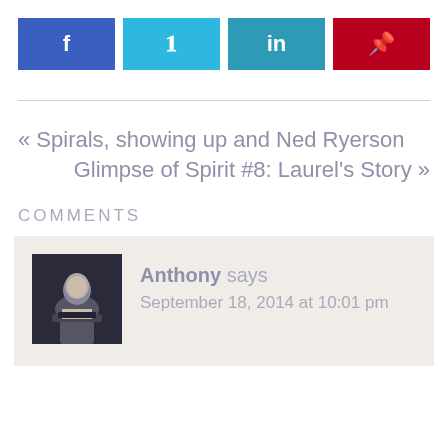[Figure (infographic): Social media share buttons: Facebook (blue), Twitter (cyan), LinkedIn (teal), Pinterest (dark red)]
« Spirals, showing up and Ned Ryerson
Glimpse of Spirit #8: Laurel's Story »
COMMENTS
Anthony says
September 18, 2014 at 10:01 pm